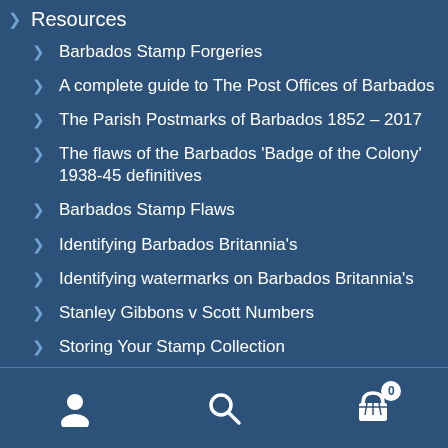Resources
Barbados Stamp Forgeries
A complete guide to The Post Offices of Barbados
The Parish Postmarks of Barbados 1852 – 2017
The flaws of the Barbados 'Badge of the Colony' 1938-45 definitives
Barbados Stamp Flaws
Identifying Barbados Britannia's
Identifying watermarks on Barbados Britannia's
Stanley Gibbons v Scott Numbers
Storing Your Stamp Collection
Valuing and selling your Stamp collection
Photos of Barbados
User | Search | Cart (0)